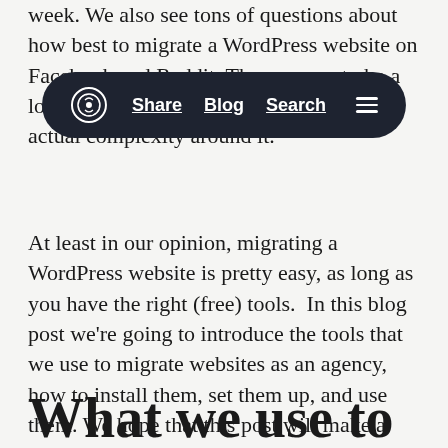week. We also see tons of questions about how best to migrate a WordPress website on Facebook and Reddit. There seems to be a lot of confusion about doing this, and the actual complexity around it.
[Figure (screenshot): A dark pill-shaped navigation bar overlay with a circular logo on the left, followed by navigation links 'Share', 'Blog', 'Search' (underlined), and a hamburger menu icon on the right.]
At least in our opinion, migrating a WordPress website is pretty easy, as long as you have the right (free) tools.  In this blog post we're going to introduce the tools that we use to migrate websites as an agency, how to install them, set them up, and use them. We hope that this post will make a good reference guide to migrate websites, and simplify your life!
What we use to